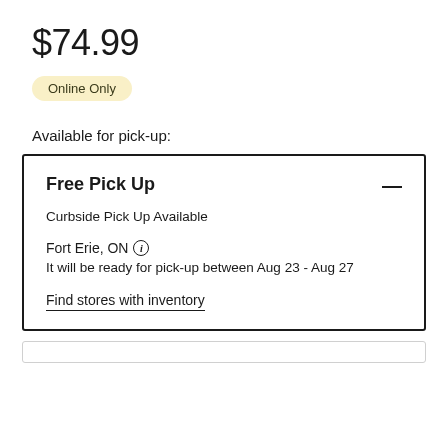$74.99
Online Only
Available for pick-up:
Free Pick Up
Curbside Pick Up Available
Fort Erie, ON
It will be ready for pick-up between Aug 23 - Aug 27
Find stores with inventory